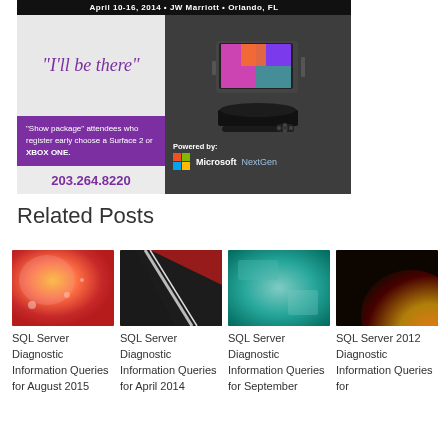[Figure (infographic): Conference advertisement banner with 'I'll be there' cursive text, show package promo for Surface 2 or XBOX ONE, phone number 203.264.8220, powered by Microsoft NextGen logo, with tablet and game console images]
Related Posts
[Figure (photo): Red and yellow apple close-up with water droplets]
SQL Server Diagnostic Information Queries for August 2015
[Figure (photo): Dark abstract photo with red and black diagonal lines, possibly a device]
SQL Server Diagnostic Information Queries for April 2014
[Figure (photo): Teal blue-green textured surface]
SQL Server Diagnostic Information Queries for September
[Figure (photo): Dark background with orange-yellow gradient]
SQL Server 2012 Diagnostic Information Queries for